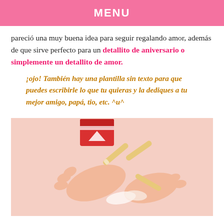MENU
pareció una muy buena idea para seguir regalando amor, además de que sirve perfecto para un detallito de aniversario o simplemente un detallito de amor.
¡ojo! También hay una plantilla sin texto para que puedes escribirle lo que tu quieras y la dediques a tu mejor amigo, papá, tio, etc. ^u^
[Figure (photo): Hands holding and rolling small paper tubes resembling cigarettes, with a red cigarette box in the background, on a pink/peach background.]